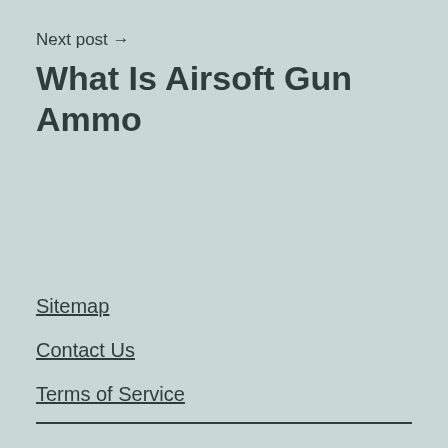Next post →
What Is Airsoft Gun Ammo
Sitemap
Contact Us
Terms of Service